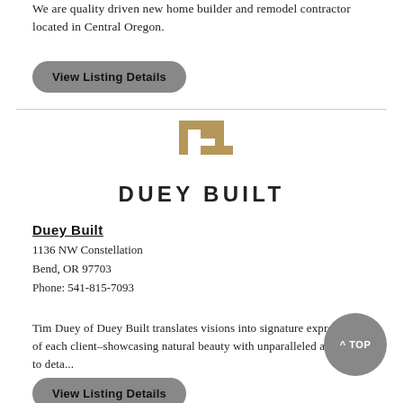We are quality driven new home builder and remodel contractor located in Central Oregon.
View Listing Details
[Figure (logo): Duey Built logo: a gold/tan geometric square bracket shape above the text DUEY BUILT in bold sans-serif capitals]
Duey Built
1136 NW Constellation
Bend, OR 97703
Phone: 541-815-7093
Tim Duey of Duey Built translates visions into signature expressions of each client–showcasing natural beauty with unparalleled attention to deta...
View Listing Details